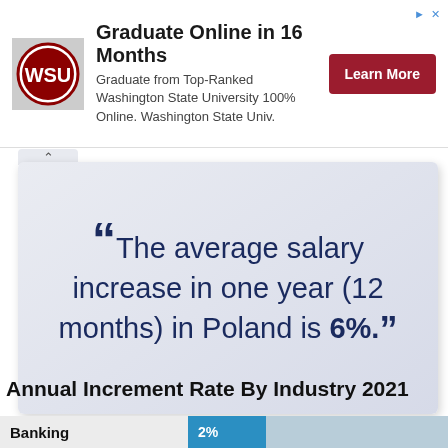[Figure (infographic): Advertisement banner for Washington State University online graduate program. Shows WSU logo, headline 'Graduate Online in 16 Months', body text about Top-Ranked Washington State University 100% Online, and a red 'Learn More' button.]
“The average salary increase in one year (12 months) in Poland is 6%.”
Annual Increment Rate By Industry 2021
Banking  2%